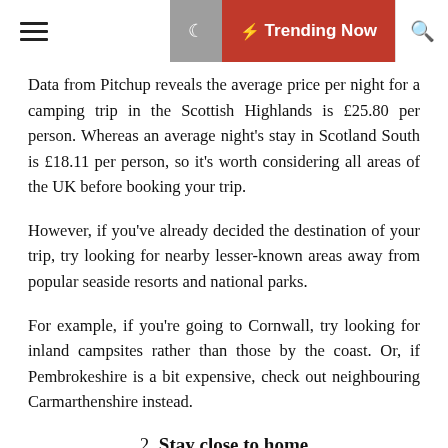☰  ☾  ⚡ Trending Now  🔍
Data from Pitchup reveals the average price per night for a camping trip in the Scottish Highlands is £25.80 per person. Whereas an average night's stay in Scotland South is £18.11 per person, so it's worth considering all areas of the UK before booking your trip.
However, if you've already decided the destination of your trip, try looking for nearby lesser-known areas away from popular seaside resorts and national parks.
For example, if you're going to Cornwall, try looking for inland campsites rather than those by the coast. Or, if Pembrokeshire is a bit expensive, check out neighbouring Carmarthenshire instead.
2. Stay close to home
You don't need to travel far to find a complete change of